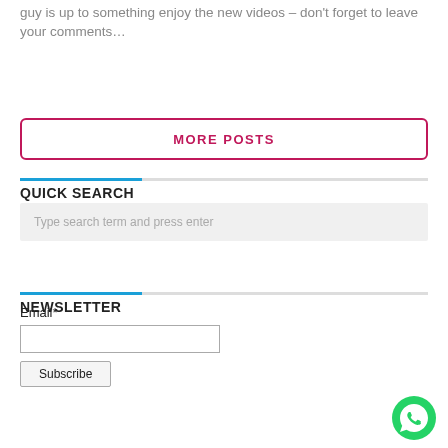guy is up to something enjoy the new videos – don't forget to leave your comments…
MORE POSTS
QUICK SEARCH
Type search term and press enter
NEWSLETTER
Email*
Subscribe